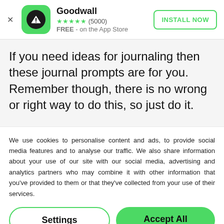[Figure (screenshot): Goodwall app advertisement banner with green rounded square icon containing a black circle with white triangle logo, five green stars rating, (5000) reviews, FREE - on the App Store text, and INSTALL NOW button with green border]
If you need ideas for journaling then these journal prompts are for you. Remember though, there is no wrong or right way to do this, so just do it.
We use cookies to personalise content and ads, to provide social media features and to analyse our traffic. We also share information about your use of our site with our social media, advertising and analytics partners who may combine it with other information that you've provided to them or that they've collected from your use of their services.
Settings
Accept All